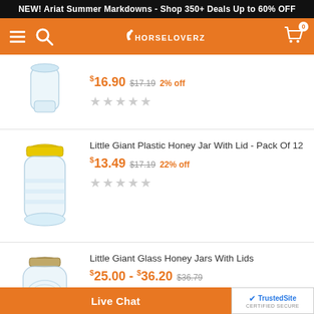NEW! Ariat Summer Markdowns - Shop 350+ Deals Up to 60% OFF
[Figure (screenshot): HorseLoverZ navigation bar with orange background, hamburger menu, search icon, horse logo, and shopping cart with 0 badge]
[Figure (photo): Clear glass jar product image (first product, partially visible at top)]
$16.90  $17.19  2% off
[Figure (photo): Little Giant plastic honey jar with yellow lid]
Little Giant Plastic Honey Jar With Lid - Pack Of 12
$13.49  $17.19  22% off
[Figure (photo): Little Giant glass honey jar with gold lid]
Little Giant Glass Honey Jars With Lids
$25.00 - $36.20  $36.79
Live Chat | TrustedSite CERTIFIED SECURE